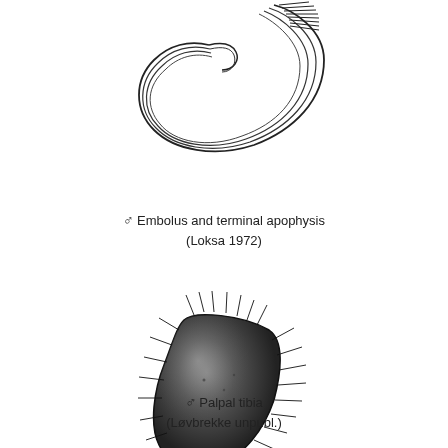[Figure (illustration): Line drawing of male embolus and terminal apophysis showing curved hook-like structure with multiple parallel lines, viewed from above.]
♂ Embolus and terminal apophysis (Loksa 1972)
[Figure (illustration): Detailed pencil drawing of male palpal tibia showing a dark, rounded trapezoidal sclerite covered with radiating bristles/spines around its edges.]
♂ Palpal tibia (Løvbrekke unpubl.)